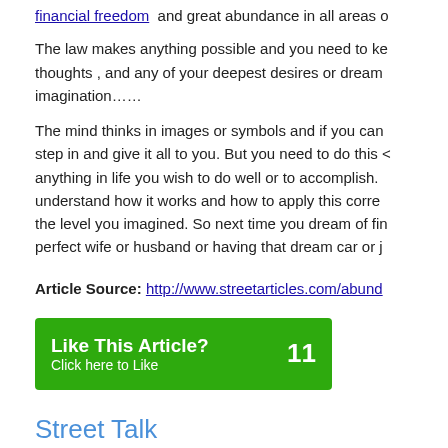financial freedom  and great abundance in all areas o
The law makes anything possible and you need to ke thoughts , and any of your deepest desires or dream imagination……
The mind thinks in images or symbols and if you can step in and give it all to you. But you need to do this anything in life you wish to do well or to accomplish. understand how it works and how to apply this corre the level you imagined. So next time you dream of fi perfect wife or husband or having that dream car or j
Article Source: http://www.streetarticles.com/abund
[Figure (other): Green 'Like This Article?' button with count of 11]
Street Talk
Add a comment...